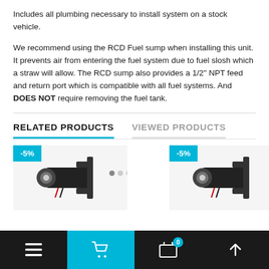Includes all plumbing necessary to install system on a stock vehicle.
We recommend using the RCD Fuel sump when installing this unit. It prevents air from entering the fuel system due to fuel slosh which a straw will allow. The RCD sump also provides a 1/2" NPT feed and return port which is compatible with all fuel systems. And DOES NOT require removing the fuel tank.
RELATED PRODUCTS
VIEWED PRODUCTS
[Figure (photo): Black fuel pump product with glass end cap, -5% badge overlay]
[Figure (photo): Black fuel pump product with glass end cap, -5% badge overlay (second card)]